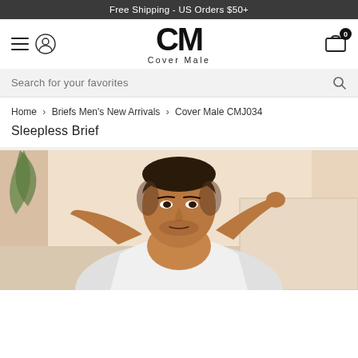Free Shipping - US Orders $50+
[Figure (logo): Cover Male CM logo with hamburger menu, user icon, and cart icon with badge '0']
Search for your favorites
Home > Briefs Men's New Arrivals > Cover Male CMJ034
Sleepless Brief
[Figure (photo): Male model with short curly hair, wearing a white open shirt, looking at camera against a light cream/beige background with a plant leaf visible on the left]